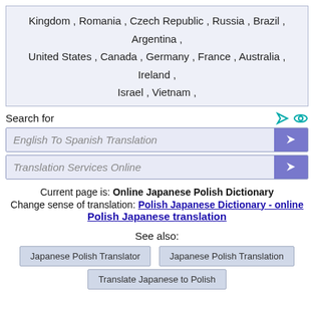Kingdom , Romania , Czech Republic , Russia , Brazil , Argentina , United States , Canada , Germany , France , Australia , Ireland , Israel , Vietnam ,
Search for
English To Spanish Translation
Translation Services Online
Current page is: Online Japanese Polish Dictionary
Change sense of translation: Polish Japanese Dictionary - online
Polish Japanese translation
See also:
Japanese Polish Translator
Japanese Polish Translation
Translate Japanese to Polish